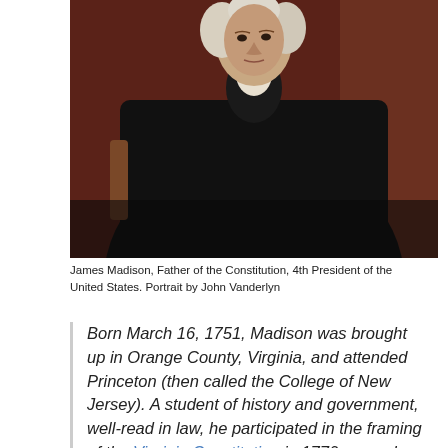[Figure (photo): Portrait painting of James Madison, a man dressed in dark clothing with a white cravat, depicted from roughly the waist up against a dark reddish-brown background. He has white hair.]
James Madison, Father of the Constitution, 4th President of the United States. Portrait by John Vanderlyn
Born March 16, 1751, Madison was brought up in Orange County, Virginia, and attended Princeton (then called the College of New Jersey). A student of history and government, well-read in law, he participated in the framing of the Virginia Constitution in 1776, served